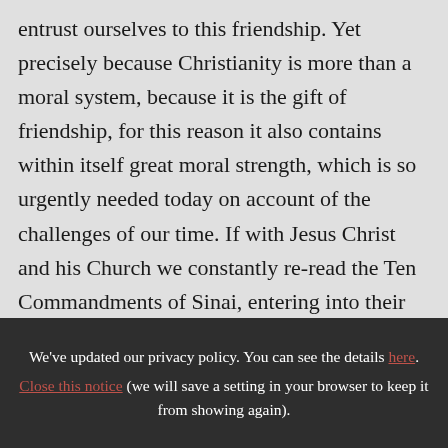entrust ourselves to this friendship. Yet precisely because Christianity is more than a moral system, because it is the gift of friendship, for this reason it also contains within itself great moral strength, which is so urgently needed today on account of the challenges of our time. If with Jesus Christ and his Church we constantly re-read the Ten Commandments of Sinai, entering into their full depth, then a great teaching unfolds
We've updated our privacy policy. You can see the details here. Close this notice (we will save a setting in your browser to keep it from showing again).